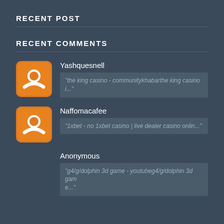RECENT POST
RECENT COMMENTS
Yashquesnell
"the king casino - communitykhabarthe king casino i..."
Naffomacafee
"1xbet - no 1xbet casino | live dealer casino onlin..."
Anonymous
"g4/g/dolphin 3d game - youtubeg4/g/dolphin 3d game..."